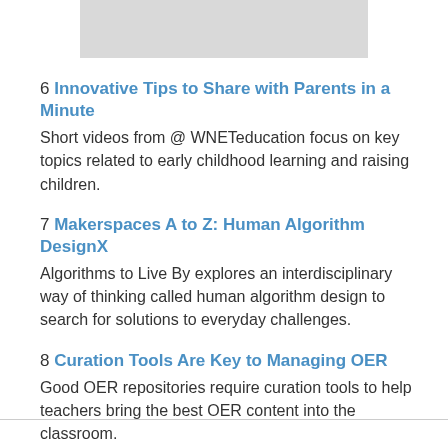[Figure (other): Gray rectangular banner/image placeholder at the top of the page]
6 Innovative Tips to Share with Parents in a Minute
Short videos from @ WNETeducation focus on key topics related to early childhood learning and raising children.
7 Makerspaces A to Z: Human Algorithm DesignX
Algorithms to Live By explores an interdisciplinary way of thinking called human algorithm design to search for solutions to everyday challenges.
8 Curation Tools Are Key to Managing OER
Good OER repositories require curation tools to help teachers bring the best OER content into the classroom.